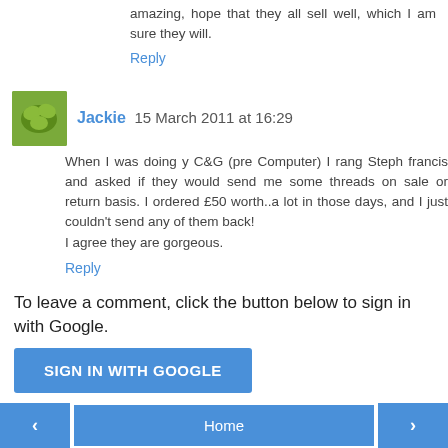amazing, hope that they all sell well, which I am sure they will.
Reply
Jackie  15 March 2011 at 16:29
When I was doing y C&G (pre Computer) I rang Steph francis and asked if they would send me some threads on sale or return basis. I ordered £50 worth..a lot in those days, and I just couldn't send any of them back!
I agree they are gorgeous.
Reply
To leave a comment, click the button below to sign in with Google.
SIGN IN WITH GOOGLE
< Home >